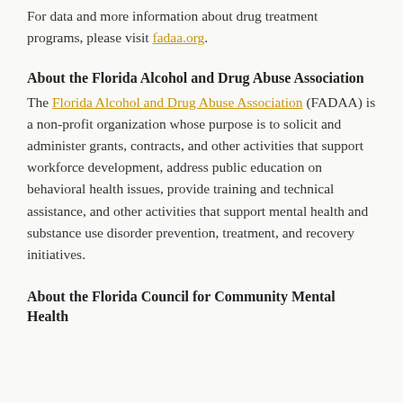For data and more information about drug treatment programs, please visit fadaa.org.
About the Florida Alcohol and Drug Abuse Association
The Florida Alcohol and Drug Abuse Association (FADAA) is a non-profit organization whose purpose is to solicit and administer grants, contracts, and other activities that support workforce development, address public education on behavioral health issues, provide training and technical assistance, and other activities that support mental health and substance use disorder prevention, treatment, and recovery initiatives.
About the Florida Council for Community Mental Health